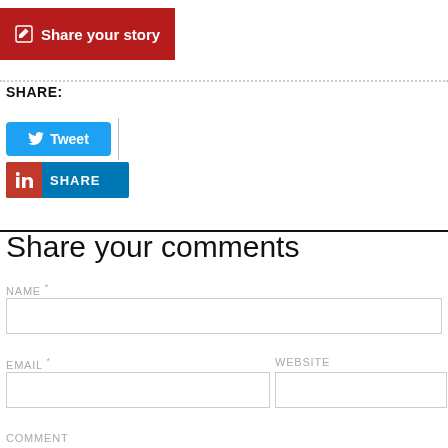[Figure (other): Red button with pencil/edit icon labeled 'Share your story']
SHARE:
[Figure (other): Twitter Tweet button (blue, bird icon)]
[Figure (other): LinkedIn Share button (blue with red icon)]
Share your comments
NAME *
EMAIL *
WEBSITE
COMMENT